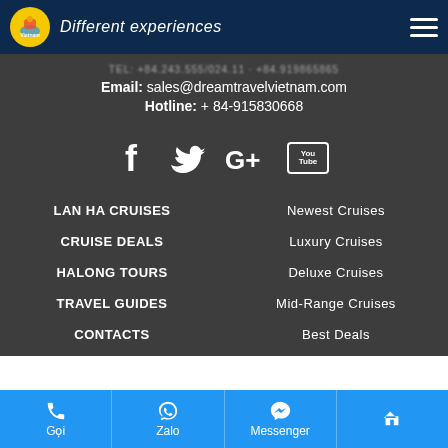Dream Travel Vietnam - Different experiences
Email: sales@dreamtravelvietnam.com
Hotline: + 84-915830668
[Figure (infographic): Social media icons: Facebook, Twitter, Google+, YouTube]
LAN HA CRUISES
Newest Cruises
CRUISE DEALS
Luxury Cruises
HALONG TOURS
Deluxe Cruises
TRAVEL GUIDES
Mid-Range Cruises
CONTACTS
Best Deals
Gọi | Zalo | Messenger